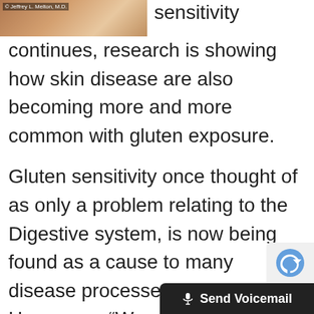[Figure (photo): Photo of a person (Jeffrey L. Melton, M.D.) with skin condition, partially visible at top of page]
sensitivity continues, research is showing how skin disease are also becoming more and more common with gluten exposure.
Gluten sensitivity once thought of as only a problem relating to the Digestive system, is now being found as a cause to many disease processes.  Dr Hagmeyer, “We are only starting to understand the systemic and wide spread damage to systems of the body including the endocrine system, reproductive system, immune system, cardiovascular system and